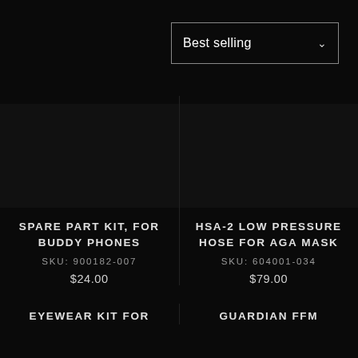Best selling
SPARE PART KIT, FOR BUDDY PHONES
SKU: 900182-007
$24.00
HSA-2 LOW PRESSURE HOSE FOR AGA MASK
SKU: 604001-034
$79.00
EYEWEAR KIT FOR
GUARDIAN FFM